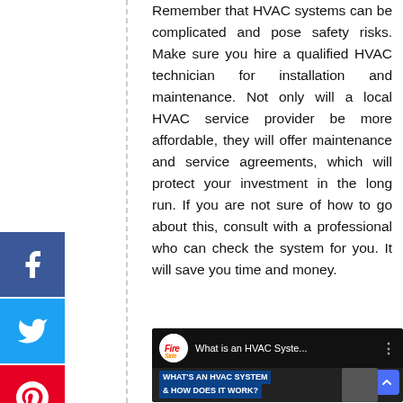Remember that HVAC systems can be complicated and pose safety risks. Make sure you hire a qualified HVAC technician for installation and maintenance. Not only will a local HVAC service provider be more affordable, they will offer maintenance and service agreements, which will protect your investment in the long run. If you are not sure of how to go about this, consult with a professional who can check the system for you. It will save you time and money.
[Figure (screenshot): YouTube video thumbnail showing 'What is an HVAC Syste...' with channel logo, video title overlay reading 'WHAT'S AN HVAC SYSTEM & HOW DOES IT WORK?' and a person in the thumbnail]